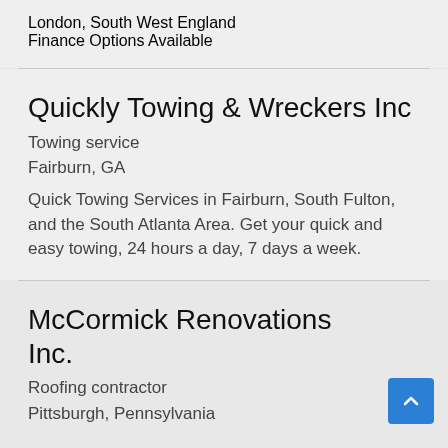London, South West England
Finance Options Available
Quickly Towing & Wreckers Inc
Towing service
Fairburn, GA
Quick Towing Services in Fairburn, South Fulton, and the South Atlanta Area. Get your quick and easy towing, 24 hours a day, 7 days a week.
McCormick Renovations Inc.
Roofing contractor
Pittsburgh, Pennsylvania